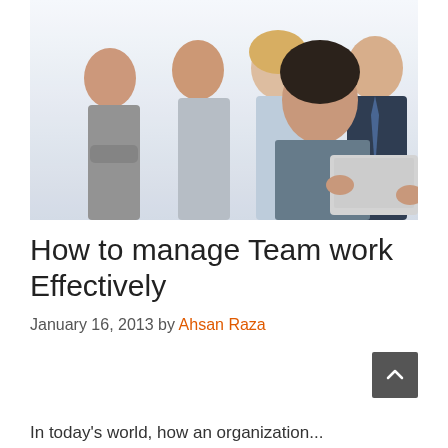[Figure (photo): Group of five business professionals standing together; man in foreground holding a laptop, smiling. Two women and two men in business attire in the background.]
How to manage Team work Effectively
January 16, 2013 by Ahsan Raza
In today's world, how an organization...